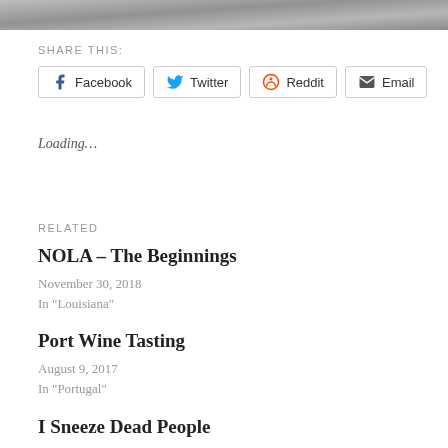[Figure (photo): Partial photo strip at top of page showing a grayish textured surface]
SHARE THIS:
Facebook  Twitter  Reddit  Email
Loading…
RELATED
NOLA – The Beginnings
November 30, 2018
In "Louisiana"
Port Wine Tasting
August 9, 2017
In "Portugal"
I Sneeze Dead People